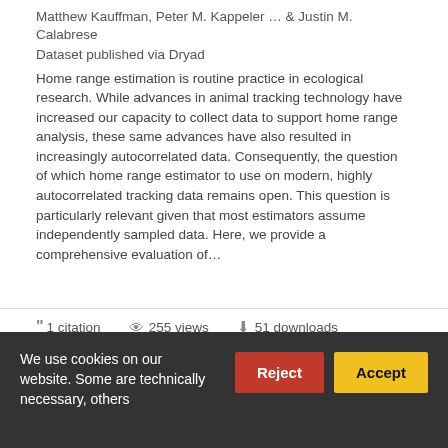Matthew Kauffman, Peter M. Kappeler … & Justin M. Calabrese
Dataset published via Dryad
Home range estimation is routine practice in ecological research. While advances in animal tracking technology have increased our capacity to collect data to support home range analysis, these same advances have also resulted in increasingly autocorrelated data. Consequently, the question of which home range estimator to use on modern, highly autocorrelated tracking data remains open. This question is particularly relevant given that most estimators assume independently sampled data. Here, we provide a comprehensive evaluation of…
1 citation  255 views  51 downloads
https://doi.org/10.5061/dryad.585tic  Cite
We use cookies on our website. Some are technically necessary, others
Reject
Accept